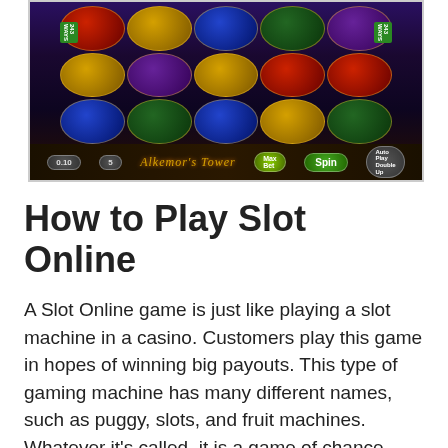[Figure (screenshot): Screenshot of Alkemor's Tower online slot machine game showing reels with mystical symbols including mushrooms, gems, coins, and a wizard character on the left side. Game interface shows bet controls, spin button, and Max Bet options at the bottom.]
How to Play Slot Online
A Slot Online game is just like playing a slot machine in a casino. Customers play this game in hopes of winning big payouts. This type of gaming machine has many different names, such as puggy, slots, and fruit machines. Whatever it's called, it is a game of chance. The best part is that you can play it with